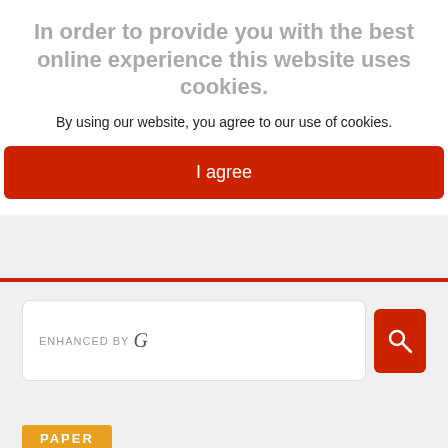In order to provide you with the best online experience this website uses cookies.
By using our website, you agree to our use of cookies.
I agree
[Figure (screenshot): Search bar with 'ENHANCED BY G' text and a red search button with magnifying glass icon]
PAPER
[Figure (photo): Counterfire magazine cover showing 'STEP UP THE ACTION' and 'ALL OUT' text with protest imagery]